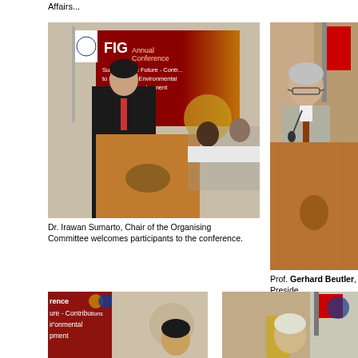Affairs...
[Figure (photo): Dr. Irawan Sumarto speaking at a podium at the FIG Annual Conference, with people seated at a table in the background. A FIG banner is visible behind.]
Dr. Irawan Sumarto, Chair of the Organising Committee welcomes participants to the conference.
[Figure (photo): Prof. Gerhard Beutler speaking at a wooden podium, with a red flag in the background.]
Prof. Gerhard Beutler, President, greetings to the conference from Association of Geodesy which was sponsors of the conference.
[Figure (photo): Close-up of a person at a conference setting with a FIG conference banner visible behind showing text about contributions to environmental development.]
[Figure (photo): Person speaking at a conference with FIG logos and a flag visible in the background.]